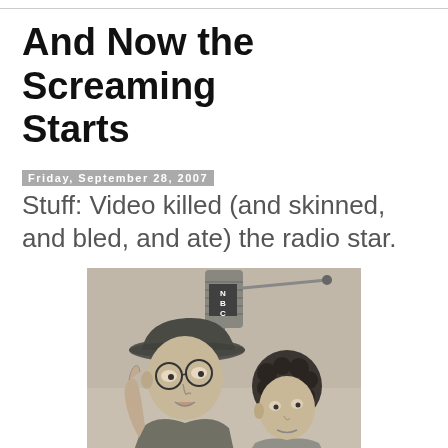And Now the Screaming Starts
Friday, September 28, 2007
Stuff: Video killed (and skinned, and bled, and ate) the radio star.
[Figure (photo): Black and white photo of a man wearing a hat and round glasses leaning toward an NBC microphone, with a young curly-haired boy beside him, both looking upward.]